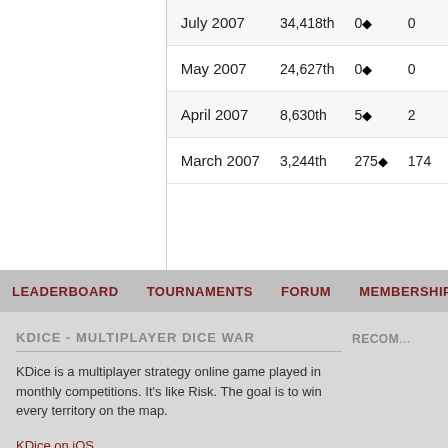| Month | Rank | Score | Col1 | Col2 | Col3 |
| --- | --- | --- | --- | --- | --- |
| July 2007 | 34,418th | 0♦ | 0 | 0 | 0 |
| May 2007 | 24,627th | 0♦ | 0 | 0 | 0 |
| April 2007 | 8,630th | 5♦ | 2 | 2 | 0 |
| March 2007 | 3,244th | 275♦ | 174 | 2 | 0 |
LEADERBOARD   TOURNAMENTS   FORUM   MEMBERSHIP   SE...
KDICE - MULTIPLAYER DICE WAR
KDice is a multiplayer strategy online game played in monthly competitions. It's like Risk. The goal is to win every territory on the map.
KDice on iOS
KDice on Twitter
KDice on Facebook
Privacy Policy
CREATED BY RYAN © 2006